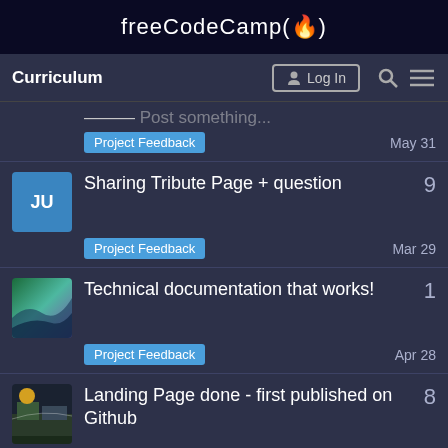freeCodeCamp(🔥)
Curriculum  Log In
Project Feedback  May 31
Sharing Tribute Page + question  9  Project Feedback  Mar 29
Technical documentation that works!  1  Project Feedback  Apr 28
Landing Page done - first published on Github  8  Project Feedback  May 2
Project: Drum Machine,  7